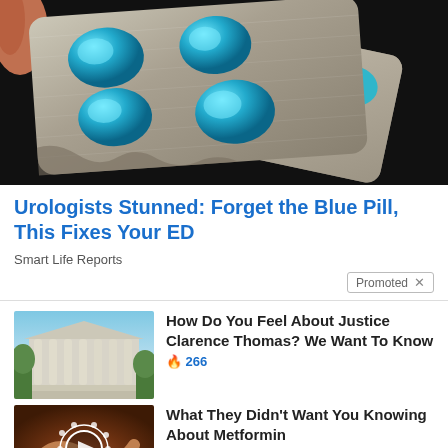[Figure (photo): Blue pills in a blister/foil pack held by a hand against dark background]
Urologists Stunned: Forget the Blue Pill, This Fixes Your ED
Smart Life Reports
Promoted  X
[Figure (photo): Supreme Court building with columns and blue sky]
How Do You Feel About Justice Clarence Thomas? We Want To Know
🔥 266
[Figure (photo): Medical/biological close-up image with play button overlay]
What They Didn't Want You Knowing About Metformin
🔥 188,220